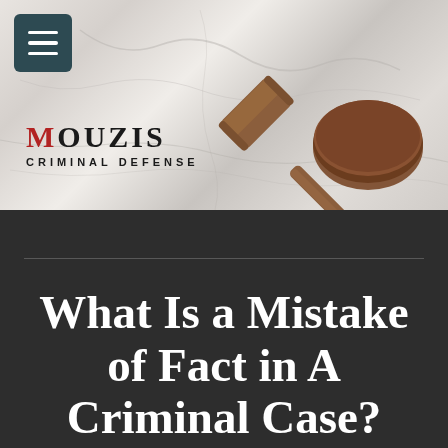[Figure (photo): Hero image showing a wooden judge's gavel and circular sound block on a white marble surface, with a teal/dark teal hamburger menu button in the top-left corner. The Mouzis Criminal Defense logo is overlaid on the lower-left of the image.]
What Is a Mistake of Fact in A Criminal Case?